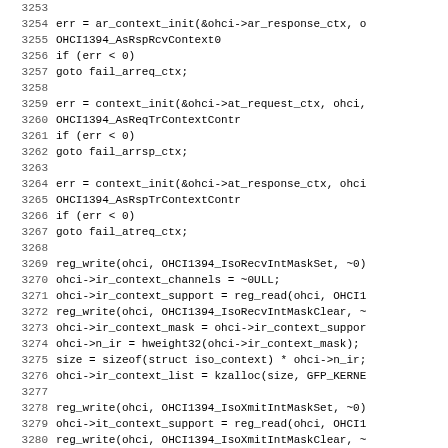[Figure (other): Source code listing showing C kernel driver code, lines 3253-3284, with line numbers on the left and code on the right. The code shows context initialization and register write operations for an OHCI 1394 driver.]